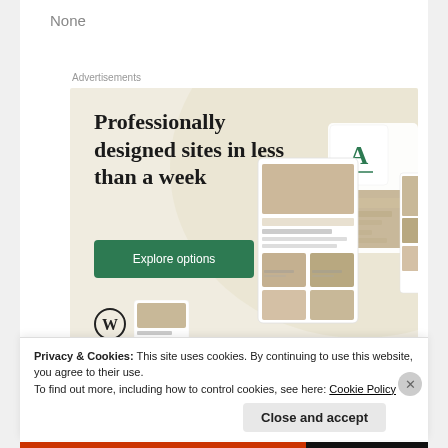None
Advertisements
[Figure (illustration): WordPress advertisement banner with beige background. Large serif headline reads 'Professionally designed sites in less than a week'. Green 'Explore options' button. WordPress logo (W in circle) at bottom left. Right side shows website mockup screens with food photography.]
Privacy & Cookies: This site uses cookies. By continuing to use this website, you agree to their use.
To find out more, including how to control cookies, see here: Cookie Policy
Close and accept